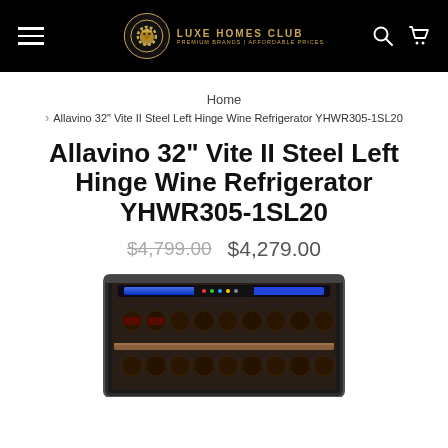Luxe Homes Club — Premium Brands | Affordable Prices
Home > Allavino 32" Vite II Steel Left Hinge Wine Refrigerator YHWR305-1SL20
Allavino 32" Vite II Steel Left Hinge Wine Refrigerator YHWR305-1SL20
$4,799.00  $4,279.00
[Figure (photo): Allavino wine refrigerator unit with stainless steel frame, blue LED lighting, wooden shelf, and wine bottles visible through glass door]